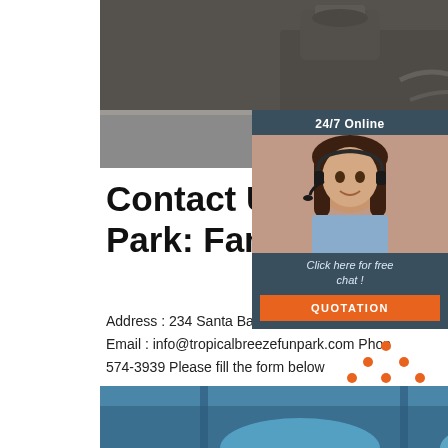[Figure (photo): Industrial black machine/equipment on a warehouse floor]
[Figure (infographic): 24/7 Online chat widget with woman wearing headset, 'Click here for free chat!' text, and QUOTATION button]
Contact Us - Tropical Breeze Fun Park: Family Fun Fort Myers
Address : 234 Santa Barbara Blvd, Cape Coral Email : info@tropicalbreezefunpark.com Phone: 574-3939 Please fill the form below
[Figure (other): Get Price orange button]
[Figure (logo): TOP logo with orange dots forming a triangle above the word TOP in orange]
[Figure (photo): Partial view of blue industrial equipment inside a building]